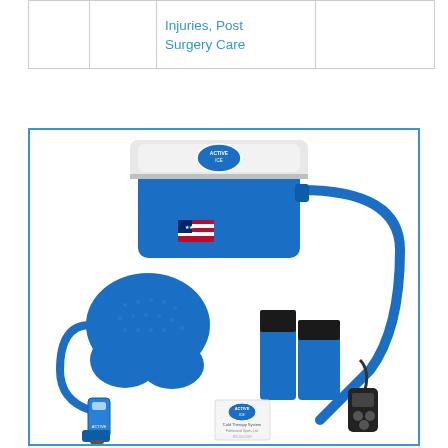|  |  | Injuries, Post Surgery Care |  |
| --- | --- | --- | --- |
|   |   | Injuries, Post Surgery Care |   |
[Figure (photo): Active Ice cold therapy system product photo showing a blue and white cooler with hose, a blue back/shoulder therapy pad with straps, blue velcro straps, a digital controller with cord, and an Active Ice instruction booklet, all on a white background.]